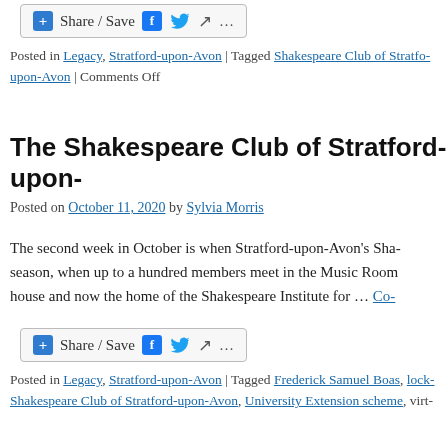[Figure (other): Share/Save button with social media icons (Facebook, Twitter, share arrow) and ellipsis]
Posted in Legacy, Stratford-upon-Avon | Tagged Shakespeare Club of Stratford-upon-Avon | Comments Off
The Shakespeare Club of Stratford-upon-
Posted on October 11, 2020 by Sylvia Morris
The second week in October is when Stratford-upon-Avon's Sha- season, when up to a hundred members meet in the Music Roo- house and now the home of the Shakespeare Institute for … Co-
[Figure (other): Share/Save button with social media icons (Facebook, Twitter, share arrow) and ellipsis]
Posted in Legacy, Stratford-upon-Avon | Tagged Frederick Samuel Boas, lock- Shakespeare Club of Stratford-upon-Avon, University Extension scheme, virt-
Shakespeare's Birthday in lockdown, 202-
Posted on April 25, 2020 by Sylvia Morris